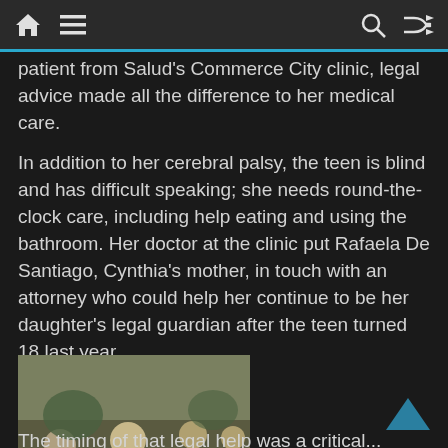Navigation bar with home, menu, search, and shuffle icons
patient from Salud's Commerce City clinic, legal advice made all the difference to her medical care.
In addition to her cerebral palsy, the teen is blind and has difficult speaking; she needs round-the-clock care, including help eating and using the bathroom. Her doctor at the clinic put Rafaela De Santiago, Cynthia's mother, in touch with an attorney who could help her continue to be her daughter's legal guardian after the teen turned 18 last year.
[Figure (photo): Photo of people at a signing event, including a person in a wheelchair and officials gathered around a desk with a presidential seal]
The timing of that legal help was a critical...